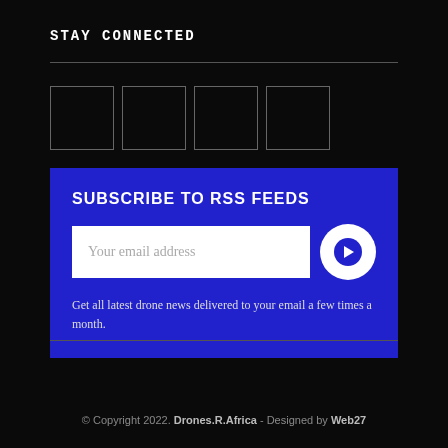STAY CONNECTED
[Figure (other): Four empty social media icon boxes arranged in a row]
SUBSCRIBE TO RSS FEEDS
Your email address
Get all latest drone news delivered to your email a few times a month.
© Copyright 2022. Drones.R.Africa - Designed by Web27